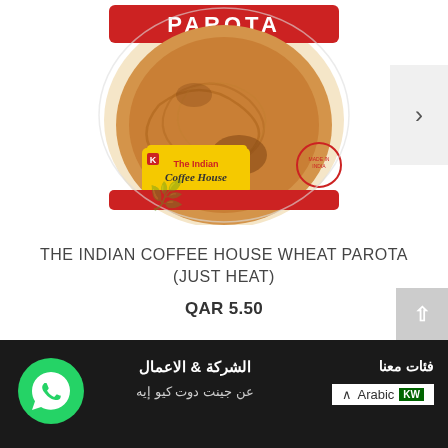[Figure (photo): Packaged Indian Coffee House Wheat Parota product in clear plastic packaging with red branding and The Indian Coffee House label]
THE INDIAN COFFEE HOUSE WHEAT PAROTA (JUST HEAT)
QAR 5.50
[Figure (logo): WhatsApp green circle icon with phone handset]
الشركة & الاعمال
عن جينت دوت كيو إيه
فئات معنا
Arabic